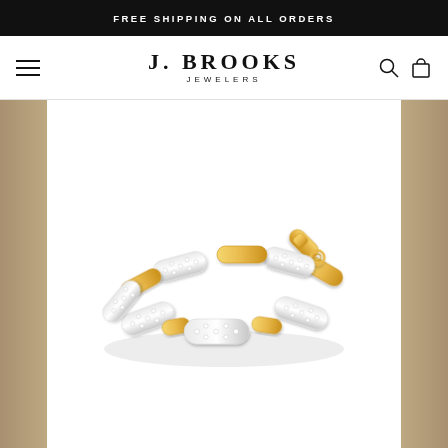FREE SHIPPING ON ALL ORDERS
J. BROOKS JEWELERS
[Figure (photo): Gold and diamond paper clip link bracelet displayed on white background with blurred neutral fabric background on sides]